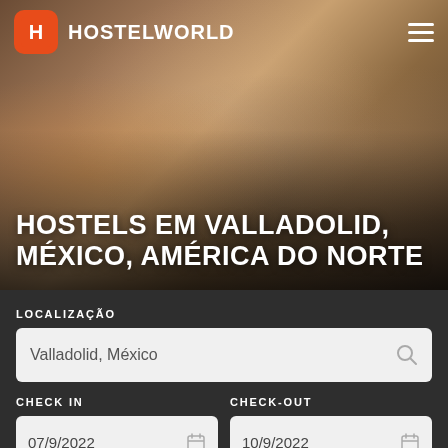[Figure (photo): Hostelworld mobile app screenshot showing a group of young travelers sitting in a hostel room, used as hero background image]
HOSTELWORLD
HOSTELS EM VALLADOLID, MÉXICO, AMÉRICA DO NORTE
LOCALIZAÇÃO
Valladolid, México
CHECK IN
CHECK-OUT
07/9/2022
10/9/2022
HÓSPEDES